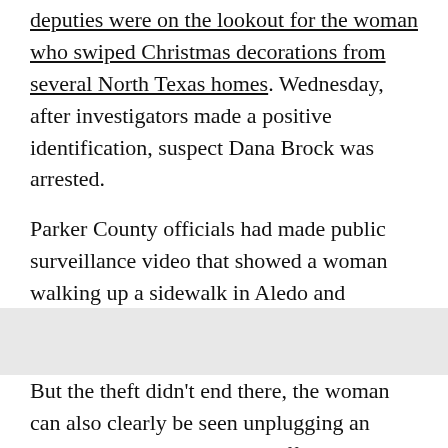deputies were on the lookout for the woman who swiped Christmas decorations from several North Texas homes. Wednesday, after investigators made a positive identification, suspect Dana Brock was arrested.
Parker County officials had made public surveillance video that showed a woman walking up a sidewalk in Aledo and towards the front door of the Starnes family. She goes straight for the holiday wreath and then walks off.
[Figure (other): Gray rectangular placeholder image area]
But the theft didn't end there, the woman can also clearly be seen unplugging an extension cord and making off with strands of Christmas lights.